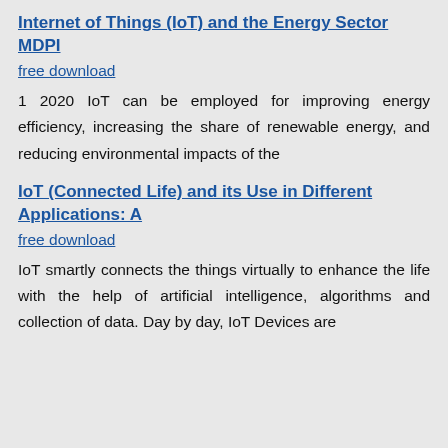Internet of Things (IoT) and the Energy Sector MDPI
free download
1 2020 IoT can be employed for improving energy efficiency, increasing the share of renewable energy, and reducing environmental impacts of the
IoT (Connected Life) and its Use in Different Applications: A
free download
IoT smartly connects the things virtually to enhance the life with the help of artificial intelligence, algorithms and collection of data. Day by day, IoT Devices are